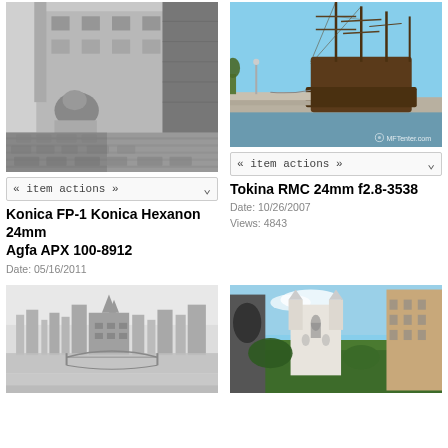[Figure (photo): Black and white photograph of a building exterior with lion statue on steps, cobblestone foreground]
« item actions »
Konica FP-1 Konica Hexanon 24mm Agfa APX 100-8912
Date: 05/16/2011
[Figure (photo): Color photograph of a tall sailing ship docked at a harbor with blue sky, watermark MFTenter.com]
« item actions »
Tokina RMC 24mm f2.8-3538
Date: 10/26/2007
Views: 4843
[Figure (photo): Black and white panoramic photograph of a city with river and chain bridge]
[Figure (photo): Color photograph of a castle/fortress tower with trees and modern building in background]